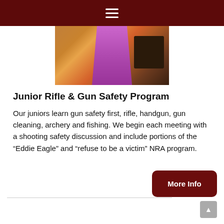≡
[Figure (photo): Photo of a person wearing a purple/magenta garment, with a wooden background and dark cabinet or case visible]
Junior Rifle & Gun Safety Program
Our juniors learn gun safety first, rifle, handgun, gun cleaning, archery and fishing. We begin each meeting with a shooting safety discussion and include portions of the "Eddie Eagle" and "refuse to be a victim" NRA program.